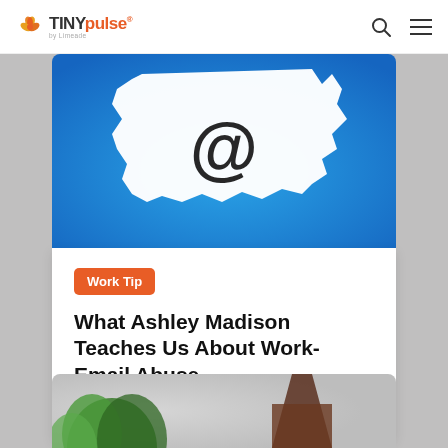TINYpulse by Limeade
[Figure (photo): Blue background with white torn paper showing @ symbol in center]
Work Tip
What Ashley Madison Teaches Us About Work-Email Abuse
Aug 21, 2015 | 3 min read
[Figure (photo): Green plant with dark background - partial view of second article card]